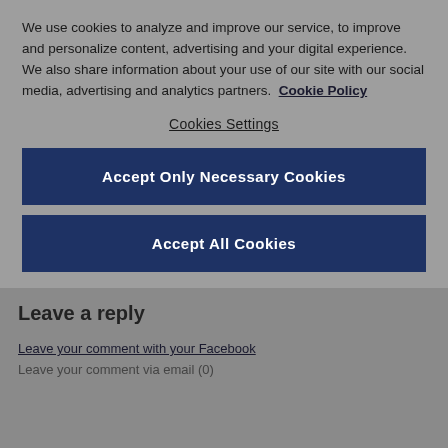We use cookies to analyze and improve our service, to improve and personalize content, advertising and your digital experience. We also share information about your use of our site with our social media, advertising and analytics partners.  Cookie Policy
Cookies Settings
Accept Only Necessary Cookies
Accept All Cookies
Leave a reply
Leave your comment with your Facebook
Leave your comment via email (0)